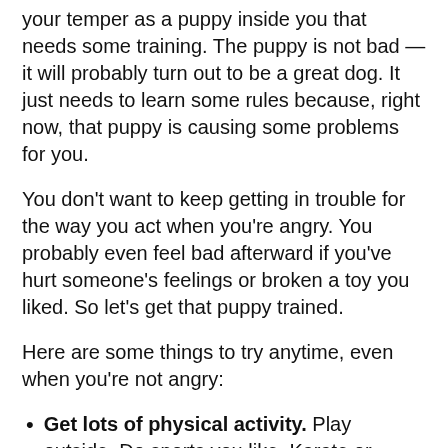your temper as a puppy inside you that needs some training. The puppy is not bad — it will probably turn out to be a great dog. It just needs to learn some rules because, right now, that puppy is causing some problems for you.
You don't want to keep getting in trouble for the way you act when you're angry. You probably even feel bad afterward if you've hurt someone's feelings or broken a toy you liked. So let's get that puppy trained.
Here are some things to try anytime, even when you're not angry:
Get lots of physical activity. Play outside. Do sports you like. Karate or wrestling can be good for kids who are trying to get their tempers under control. But any activity that gets your heart